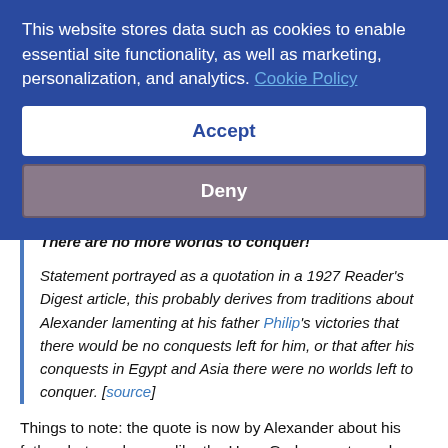This website stores data such as cookies to enable essential site functionality, as well as marketing, personalization, and analytics. Cookie Policy
Accept
Deny
There are no more worlds to conquer!
Statement portrayed as a quotation in a 1927 Reader's Digest article, this probably derives from traditions about Alexander lamenting at his father Philip's victories that there would be no conquests left for him, or that after his conquests in Egypt and Asia there were no worlds left to conquer. [source]
Things to note: the quote is now by Alexander about his father, but much more like the Hans Gruber quote we know and love.
So how'd this mishmash of a quote (that puts its speaker in a rather less than flattering light) wind up being the rousing summation of